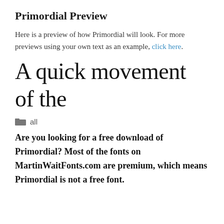Primordial Preview
Here is a preview of how Primordial will look. For more previews using your own text as an example, click here.
[Figure (other): Large handwritten-style font preview text reading: A quick movement of the]
all
Are you looking for a free download of Primordial? Most of the fonts on MartinWaitFonts.com are premium, which means Primordial is not a free font.